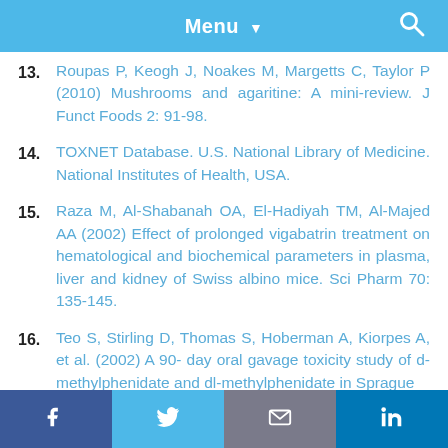Menu
13. Roupas P, Keogh J, Noakes M, Margetts C, Taylor P (2010) Mushrooms and agaritine: A mini-review. J Funct Foods 2: 91-98.
14. TOXNET Database. U.S. National Library of Medicine. National Institutes of Health, USA.
15. Raza M, Al-Shabanah OA, El-Hadiyah TM, Al-Majed AA (2002) Effect of prolonged vigabatrin treatment on hematological and biochemical parameters in plasma, liver and kidney of Swiss albino mice. Sci Pharm 70: 135-145.
16. Teo S, Stirling D, Thomas S, Hoberman A, Kiorpes A, et al. (2002) A 90- day oral gavage toxicity study of d-methylphenidate and dl-methylphenidate in Sprague
f  Twitter  Email  in